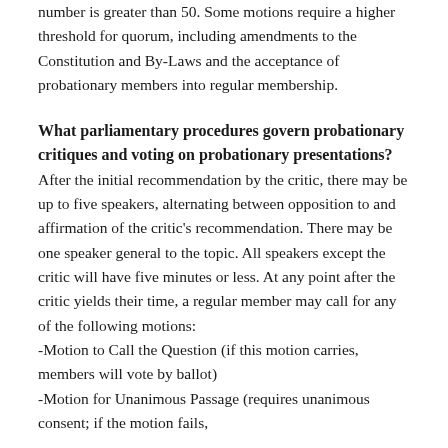number is greater than 50. Some motions require a higher threshold for quorum, including amendments to the Constitution and By-Laws and the acceptance of probationary members into regular membership.
What parliamentary procedures govern probationary critiques and voting on probationary presentations?
After the initial recommendation by the critic, there may be up to five speakers, alternating between opposition to and affirmation of the critic's recommendation. There may be one speaker general to the topic. All speakers except the critic will have five minutes or less. At any point after the critic yields their time, a regular member may call for any of the following motions:
-Motion to Call the Question (if this motion carries, members will vote by ballot)
-Motion for Unanimous Passage (requires unanimous consent; if the motion fails,